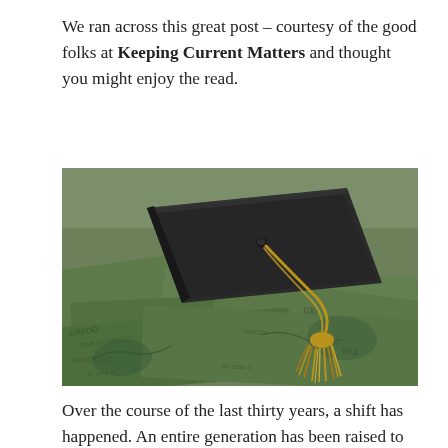We ran across this great post – courtesy of the good folks at Keeping Current Matters and thought you might enjoy the read.
[Figure (photo): A dark academic graduation cap (mortarboard) with a gold tassel resting on top of a pile of US dollar bills, suggesting the cost or value of higher education.]
Over the course of the last thirty years, a shift has happened. An entire generation has been raised to believe that a college education is their key to unlocking opportunities that were not available to their parent's or